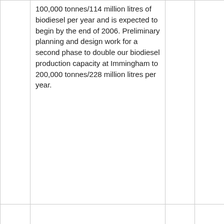|  | 100,000 tonnes/114 million litres of biodiesel per year and is expected to begin by the end of 2006. Preliminary planning and design work for a second phase to double our biodiesel production capacity at Immingham to 200,000 tonnes/228 million litres per year. |  |  |
|  |  |  |  |